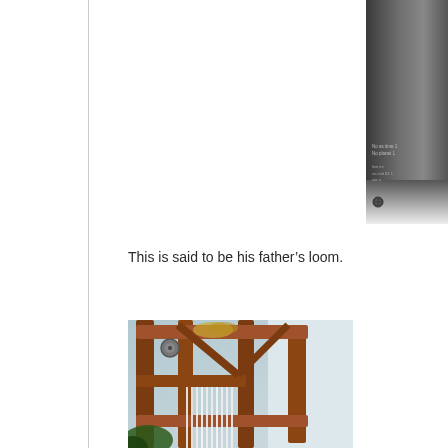[Figure (photo): Partial view of a dark metallic cylindrical object with engraved or printed text, cropped at right edge of page]
This is said to be his father’s loom.
[Figure (photo): A wooden loom with a frame of orange-brown wood, with white threads and some equipment visible, photographed indoors]